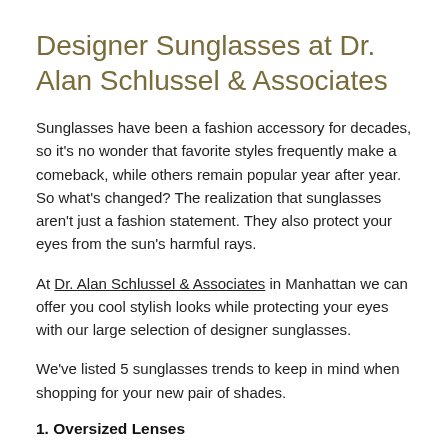Designer Sunglasses at Dr. Alan Schlussel & Associates
Sunglasses have been a fashion accessory for decades, so it's no wonder that favorite styles frequently make a comeback, while others remain popular year after year. So what's changed? The realization that sunglasses aren't just a fashion statement. They also protect your eyes from the sun's harmful rays.
At Dr. Alan Schlussel & Associates in Manhattan we can offer you cool stylish looks while protecting your eyes with our large selection of designer sunglasses.
We've listed 5 sunglasses trends to keep in mind when shopping for your new pair of shades.
1. Oversized Lenses
Oversized designer sunglasses are not only a must-have accessory. They're also highly functional. Larger frames and